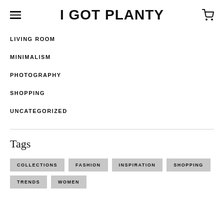I GOT PLANTY
LIVING ROOM
MINIMALISM
PHOTOGRAPHY
SHOPPING
UNCATEGORIZED
Tags
COLLECTIONS
FASHION
INSPIRATION
SHOPPING
TRENDS
WOMEN